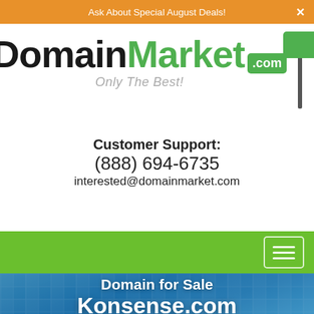Ask About Special August Deals!
[Figure (logo): DomainMarket.com logo with real estate sign graphic and tagline 'Only The Best!']
Customer Support:
(888) 694-6735
interested@domainmarket.com
[Figure (other): Green navigation bar with hamburger menu button]
Domain for Sale
Konsense.com
$79,888 USD